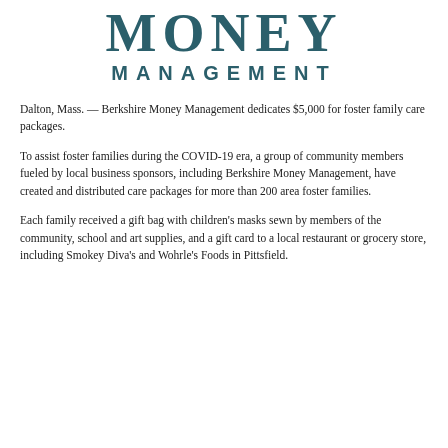[Figure (logo): Berkshire Money Management logo — large 'MONEY' text in teal/dark teal serif font above 'MANAGEMENT' in smaller bold spaced sans-serif caps]
Dalton, Mass. — Berkshire Money Management dedicates $5,000 for foster family care packages.
To assist foster families during the COVID-19 era, a group of community members fueled by local business sponsors, including Berkshire Money Management, have created and distributed care packages for more than 200 area foster families.
Each family received a gift bag with children's masks sewn by members of the community, school and art supplies, and a gift card to a local restaurant or grocery store, including Smokey Diva's and Wohrle's Foods in Pittsfield.